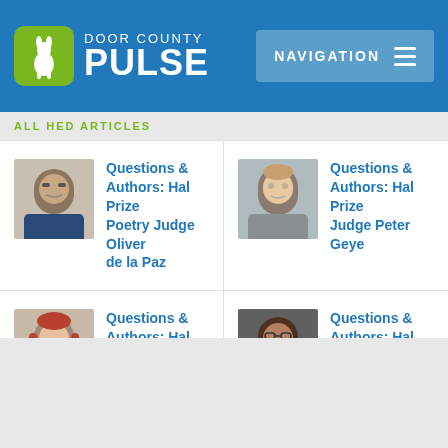[Figure (logo): Door County Pulse logo with green rabbit icon and white text on blue header background]
ALL HED ARTICLES
Questions & Authors: Hal Prize Poetry Judge Oliver de la Paz
Questions & Authors: Hal Prize Judge Peter Geye
Questions & Authors: Hal Prize Fiction Judge Nicole Helget
Questions & Authors: Hal Prize Judge David Haynes